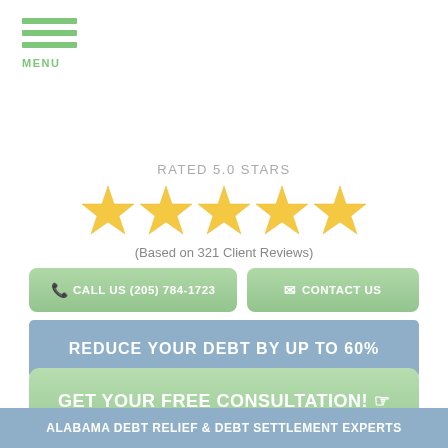MENU
RATED 5.0 STARS
[Figure (other): Five gold stars rating display]
(Based on 321 Client Reviews)
CALL US (205) 784-1723
CONTACT US
REDUCE YOUR DEBT BY UP TO 60%
GET YOUR FREE CONSULTATION!
ALABAMA DEBT RELIEF & DEBT SETTLEMENT EXPERTS